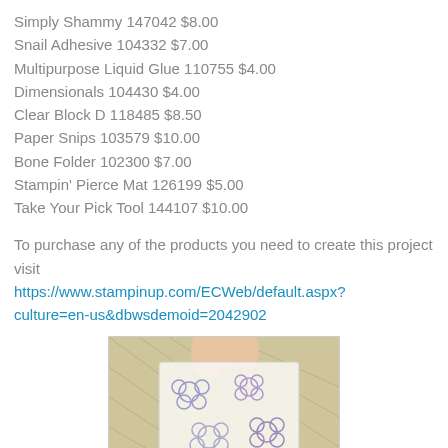Simply Shammy 147042 $8.00
Snail Adhesive 104332 $7.00
Multipurpose Liquid Glue 110755 $4.00
Dimensionals 104430 $4.00
Clear Block D 118485 $8.50
Paper Snips 103579 $10.00
Bone Folder 102300 $7.00
Stampin' Pierce Mat 126199 $5.00
Take Your Pick Tool 144107 $10.00
To purchase any of the products you need to create this project visit https://www.stampinup.com/ECWeb/default.aspx?culture=en-us&dbwsdemoid=2042902
[Figure (photo): Hands holding a clear stamping block with flower stamp images over a yellow background]